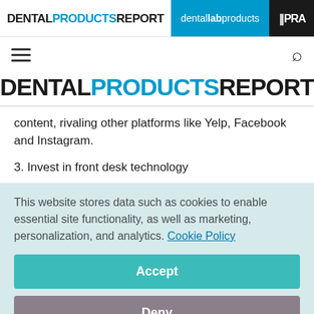DENTAL PRODUCTS REPORT | dental lab products | IPRA...
content, rivaling other platforms like Yelp, Facebook and Instagram.
3. Invest in front desk technology
This website stores data such as cookies to enable essential site functionality, as well as marketing, personalization, and analytics. Cookie Policy
Accept
Deny